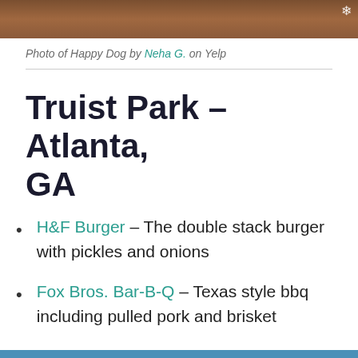[Figure (photo): Top portion of a photo of a happy dog, brown background, partial view of dog and white flower/accessory, with Yelp snowflake logo in top right corner]
Photo of Happy Dog by Neha G. on Yelp
Truist Park – Atlanta, GA
H&F Burger – The double stack burger with pickles and onions
Fox Bros. Bar-B-Q – Texas style bbq including pulled pork and brisket